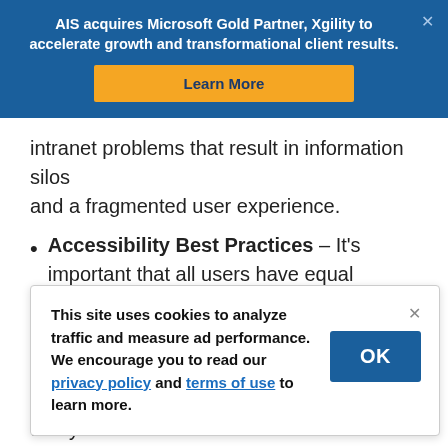AIS acquires Microsoft Gold Partner, Xgility to accelerate growth and transformational client results.
intranet problems that result in information silos and a fragmented user experience.
Accessibility Best Practices – It's important that all users have equal access to your business systems. Our accessibility experts
This site uses cookies to analyze traffic and measure ad performance. We encourage you to read our privacy policy and terms of use to learn more.
they are, we can help. Start the conversation today